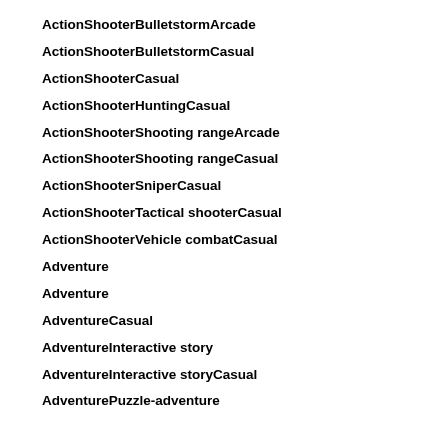ActionShooterBulletstormArcade
ActionShooterBulletstormCasual
ActionShooterCasual
ActionShooterHuntingCasual
ActionShooterShooting rangeArcade
ActionShooterShooting rangeCasual
ActionShooterSniperCasual
ActionShooterTactical shooterCasual
ActionShooterVehicle combatCasual
Adventure
Adventure
AdventureCasual
AdventureInteractive story
AdventureInteractive storyCasual
AdventurePuzzle-adventure